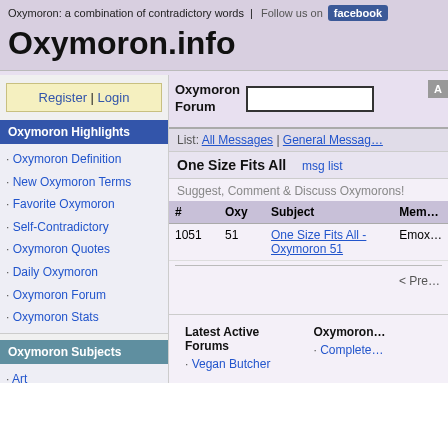Oxymoron: a combination of contradictory words | Follow us on facebook
Oxymoron.info
Register | Login
Oxymoron Highlights
Oxymoron Definition
New Oxymoron Terms
Favorite Oxymoron
Self-Contradictory
Oxymoron Quotes
Daily Oxymoron
Oxymoron Forum
Oxymoron Stats
Oxymoron Subjects
Art
Business
Change
Education
Family
Fashion
Oxymoron Forum
List: All Messages | General Messag...
One Size Fits All  msg list
Suggest, Comment & Discuss Oxymorons!
| # | Oxy | Subject | Mem... |
| --- | --- | --- | --- |
| 1051 | 51 | One Size Fits All - Oxymoron 51 | Emox... |
< Pre...
| Latest Active Forums | Oxymoron... |
| --- | --- |
| . Vegan Butcher | . Complete... |